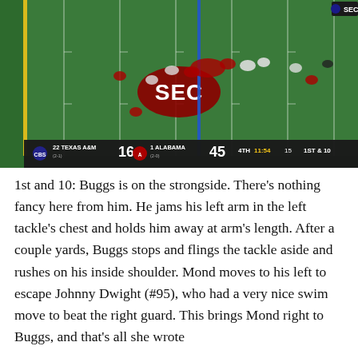[Figure (screenshot): TV broadcast screenshot of a college football game. The field is green with white yard markings and a large SEC logo at midfield. Players in red and white uniforms are visible. A yellow marker pole is on the left sideline. A blue vertical line (first down marker) is visible. Score bar at bottom: Texas A&M 22 (2-1) 16, Alabama 1 (2-0) 45, 4th quarter 11:54, 15-yard line, 1st & 10. SEC network logo visible top right.]
1st and 10: Buggs is on the strongside. There's nothing fancy here from him. He jams his left arm in the left tackle's chest and holds him away at arm's length. After a couple yards, Buggs stops and flings the tackle aside and rushes on his inside shoulder. Mond moves to his left to escape Johnny Dwight (#95), who had a very nice swim move to beat the right guard. This brings Mond right to Buggs, and that's all she wrote